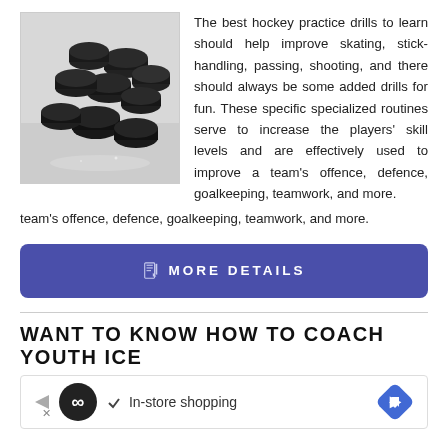[Figure (photo): Hockey pucks piled on an ice surface, viewed from above at a slight angle. Multiple black rubber pucks stacked and scattered on white ice.]
The best hockey practice drills to learn should help improve skating, stick-handling, passing, shooting, and there should always be some added drills for fun. These specific specialized routines serve to increase the players' skill levels and are effectively used to improve a team's offence, defence, goalkeeping, teamwork, and more.
MORE DETAILS
WANT TO KNOW HOW TO COACH YOUTH ICE
[Figure (screenshot): Advertisement bar showing a circular logo with infinity symbol, a checkmark with 'In-store shopping' text, and a blue diamond arrow button on the right.]